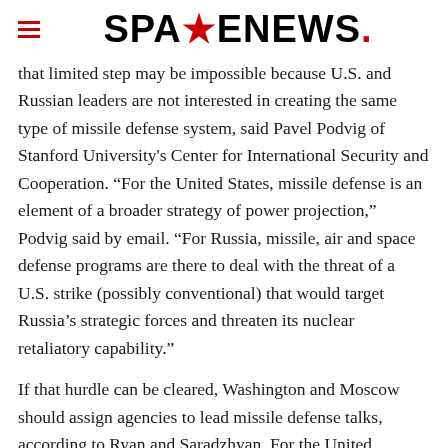SPACENEWS
that limited step may be impossible because U.S. and Russian leaders are not interested in creating the same type of missile defense system, said Pavel Podvig of Stanford University's Center for International Security and Cooperation. “For the United States, missile defense is an element of a broader strategy of power projection,” Podvig said by email. “For Russia, missile, air and space defense programs are there to deal with the threat of a U.S. strike (possibly conventional) that would target Russia’s strategic forces and threaten its nuclear retaliatory capability.”
If that hurdle can be cleared, Washington and Moscow should assign agencies to lead missile defense talks, according to Ryan and Saradzhyan. For the United